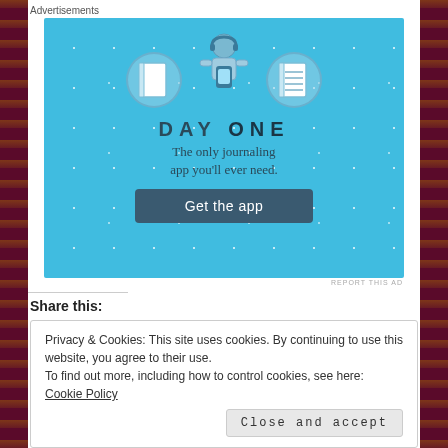Advertisements
[Figure (illustration): Day One journaling app advertisement. Blue background with illustrated figure using phone, flanked by two circular icons showing a notebook and a lined notebook. Text: DAY ONE - The only journaling app you'll ever need. Button: Get the app.]
REPORT THIS AD
Share this:
Privacy & Cookies: This site uses cookies. By continuing to use this website, you agree to their use.
To find out more, including how to control cookies, see here: Cookie Policy
Close and accept